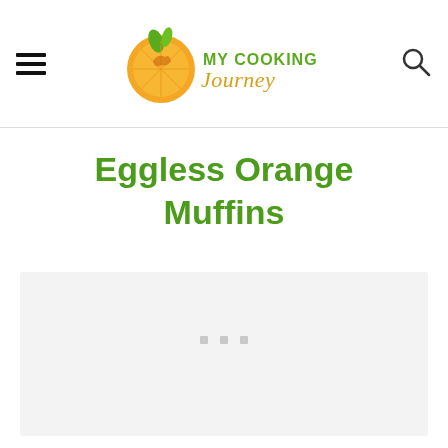My Cooking Journey
Eggless Orange Muffins
[Figure (photo): Large light gray placeholder image area for the Eggless Orange Muffins recipe photo, with three small gray squares at the bottom center indicating a loading or carousel indicator]